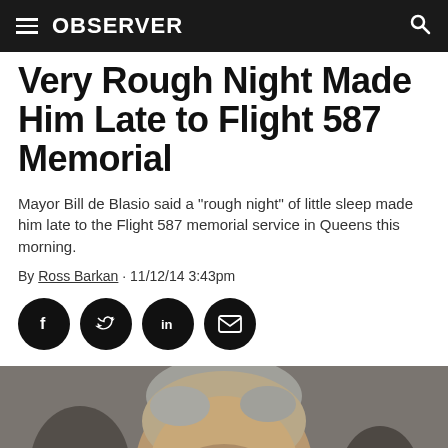OBSERVER
Very Rough Night Made Him Late to Flight 587 Memorial
Mayor Bill de Blasio said a "rough night" of little sleep made him late to the Flight 587 memorial service in Queens this morning.
By Ross Barkan · 11/12/14 3:43pm
[Figure (other): Social share icons: Facebook, Twitter, LinkedIn, Email]
[Figure (photo): Photo of Mayor Bill de Blasio, a man with grey hair touching his face, looking downward, wearing a dark suit, with other people blurred in the background.]